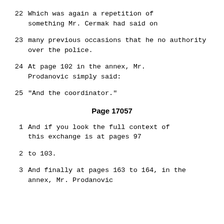22   Which was again a repetition of something Mr. Cermak had said on
23   many previous occasions that he no authority over the police.
24   At page 102 in the annex, Mr. Prodanovic simply said:
25   "And the coordinator."
Page 17057
1   And if you look the full context of this exchange is at pages 97
2   to 103.
3   And finally at pages 163 to 164, in the annex, Mr. Prodanovic